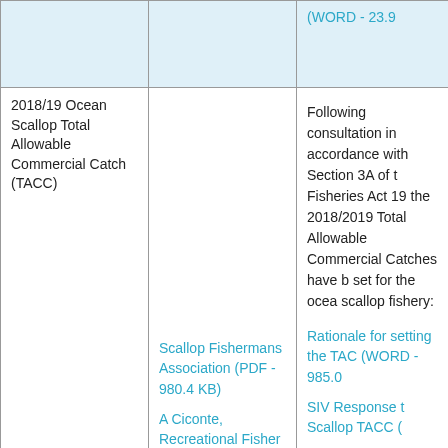|  |  |  |
| --- | --- | --- |
|  |  | (WORD - 23.9 |
| 2018/19 Ocean Scallop Total Allowable Commercial Catch (TACC) | Scallop Fishermans Association (PDF - 980.4 KB)

A Ciconte, Recreational Fisher (PDF - 194.6 KB) | Following consultation in accordance with Section 3A of the Fisheries Act 19... the 2018/2019 Total Allowable Commercial Catches have been set for the ocean scallop fishery:

Rationale for setting the TACC (WORD - 985.0

SIV Response to Scallop TACC ( |